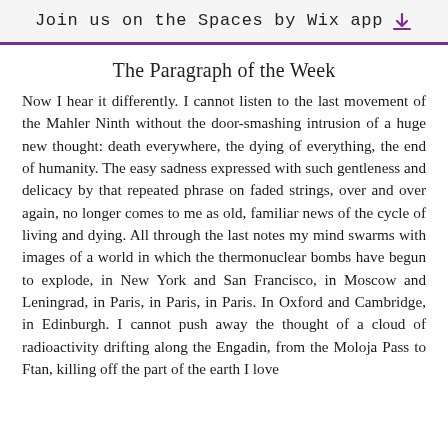Join us on the Spaces by Wix app
The Paragraph of the Week
Now I hear it differently. I cannot listen to the last movement of the Mahler Ninth without the door-smashing intrusion of a huge new thought: death everywhere, the dying of everything, the end of humanity. The easy sadness expressed with such gentleness and delicacy by that repeated phrase on faded strings, over and over again, no longer comes to me as old, familiar news of the cycle of living and dying. All through the last notes my mind swarms with images of a world in which the thermonuclear bombs have begun to explode, in New York and San Francisco, in Moscow and Leningrad, in Paris, in Paris, in Paris. In Oxford and Cambridge, in Edinburgh. I cannot push away the thought of a cloud of radioactivity drifting along the Engadin, from the Moloja Pass to Ftan, killing off the part of the earth I love